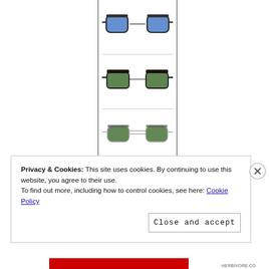[Figure (photo): Three pairs of sunglasses with clip-on attachments shown vertically in a bordered column: top pair has blue lenses in a classic frame, middle pair has green clip-on lenses over tortoise frames, bottom pair has green clip-on lenses over silver wire frames.]
Introducing limited-edition clip-ons
Shop now
Privacy & Cookies: This site uses cookies. By continuing to use this website, you agree to their use.
To find out more, including how to control cookies, see here: Cookie Policy
Close and accept